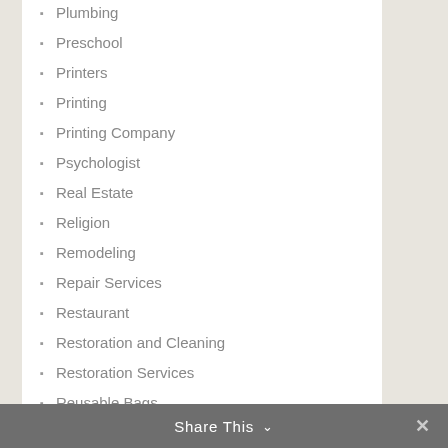Plumbing
Preschool
Printers
Printing
Printing Company
Psychologist
Real Estate
Religion
Remodeling
Repair Services
Restaurant
Restoration and Cleaning
Restoration Services
Reusable Bags
Roofing
Roofing Contractor
Safety Equipment Supp…
Share This ∨  ✕